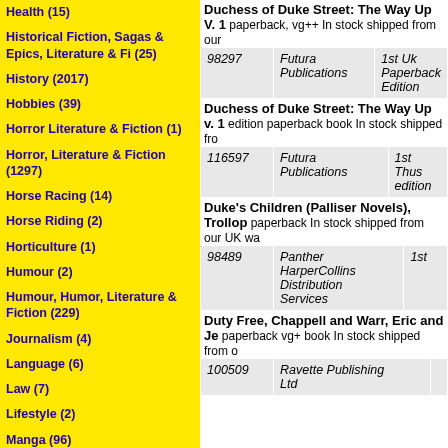Health (15)
Historical Fiction, Sagas & Epics, Literature & Fi (25)
History (2017)
Hobbies (39)
Horror Literature & Fiction (1)
Horror, Literature & Fiction (1297)
Horse Racing (14)
Horse Riding (2)
Horticulture (1)
Humour (2)
Humour, Humor, Literature & Fiction (229)
Journalism (4)
Language (6)
Law (7)
Lifestyle (2)
Manga (96)
Marketing (2)
Martial Arts (12)
Mathematics (11)
Medicine (54)
Mining (2)
Duchess of Duke Street: The Way Up V. 1 paperback, vg++ In stock shipped from our
| ID | Publisher | Edition |
| --- | --- | --- |
| 98297 | Futura Publications | 1st Uk Paperback Edition |
Duchess of Duke Street: The Way Up v. 1 edition paperback book In stock shipped from
| ID | Publisher | Edition |
| --- | --- | --- |
| 116597 | Futura Publications | 1st Thus edition |
Duke's Children (Palliser Novels), Trollop paperback In stock shipped from our UK wa
| ID | Publisher | Edition |
| --- | --- | --- |
| 98489 | Panther HarperCollins Distribution Services | 1st |
Duty Free, Chappell and Warr, Eric and Je paperback vg+ book In stock shipped from o
| ID | Publisher | Edition |
| --- | --- | --- |
| 100509 | Ravette Publishing Ltd |  |